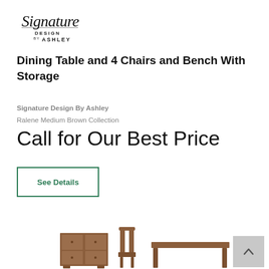[Figure (logo): Signature Design by Ashley logo — cursive 'Signature' text with 'DESIGN by ASHLEY' beneath in small caps]
Dining Table and 4 Chairs and Bench With Storage
Signature Design By Ashley
Ralene Medium Brown Collection
Call for Our Best Price
See Details
[Figure (photo): Partial photo of a dining furniture set including a storage bench/cabinet, a chair, and the edge of a dining table in medium brown wood finish]